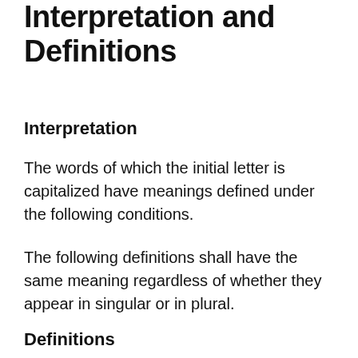Interpretation and Definitions
Interpretation
The words of which the initial letter is capitalized have meanings defined under the following conditions.
The following definitions shall have the same meaning regardless of whether they appear in singular or in plural.
Definitions